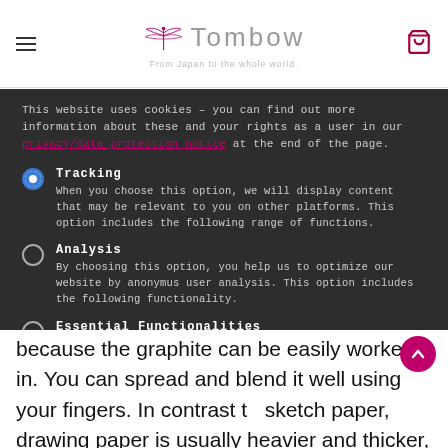Tombow – From Japan to the whole world.
This website uses cookies – you can find out more information about these and your rights as a user in our [privacy/data protection notice] at the end of the page.
Tracking – When you choose this option, we will display content that may be relevant to you on other platforms. This option includes the following range of functions.
Analysis – By choosing this option, you help us to optimize our website by anonymus user analysis. This option includes the following functionality.
Essential Functionalities – This preset is essential for the operation of the website. It allows you to use the essential functionalities of our website without any website user analysis or tracking.
OK
because the graphite can be easily worked in. You can spread and blend it well using your fingers. In contrast to sketch paper, drawing paper is usually heavier and thicker,